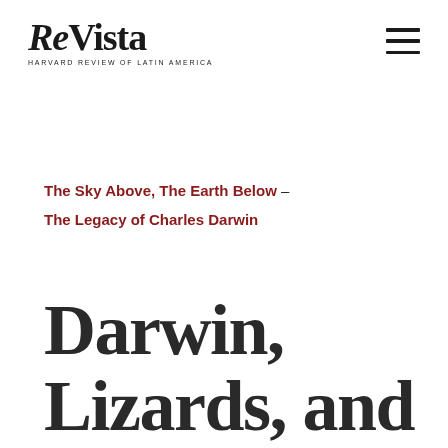ReVista HARVARD REVIEW OF LATIN AMERICA
The Sky Above, The Earth Below – The Legacy of Charles Darwin
Darwin, Lizards, and